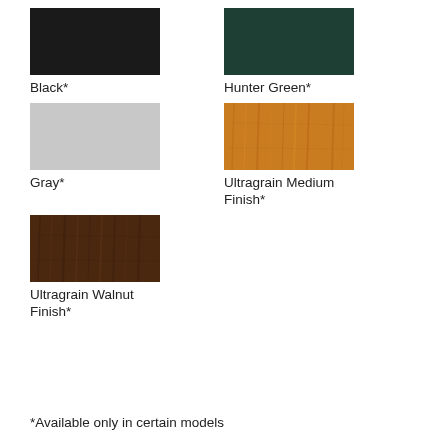[Figure (illustration): Black color swatch]
Black*
[Figure (illustration): Hunter Green color swatch]
Hunter Green*
[Figure (illustration): Gray color swatch]
Gray*
[Figure (illustration): Ultragrain Medium Finish wood grain swatch]
Ultragrain Medium Finish*
[Figure (illustration): Ultragrain Walnut Finish wood grain swatch]
Ultragrain Walnut Finish*
*Available only in certain models